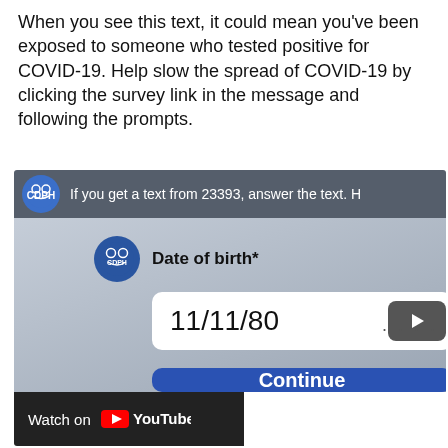When you see this text, it could mean you've been exposed to someone who tested positive for COVID-19. Help slow the spread of COVID-19 by clicking the survey link in the message and following the prompts.
[Figure (screenshot): YouTube video player thumbnail showing a COVID-19 contact tracing survey form. The video title bar reads 'If you get a text from 23393, answer the text. H...' with a CDPH logo. The form shows a 'Date of birth*' field with value '11/11/80', a play button, and a blue 'Continue' button. A 'Watch on YouTube' bar is at the bottom.]